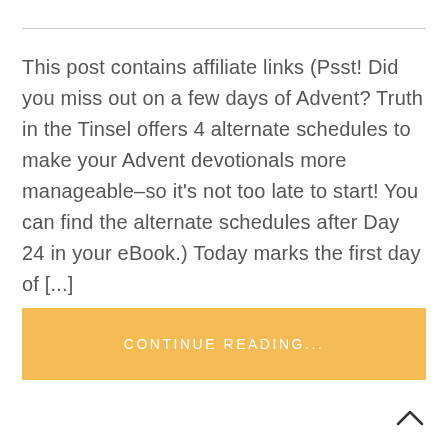This post contains affiliate links (Psst! Did you miss out on a few days of Advent? Truth in the Tinsel offers 4 alternate schedules to make your Advent devotionals more manageable–so it's not too late to start! You can find the alternate schedules after Day 24 in your eBook.) Today marks the first day of [...]
CONTINUE READING...